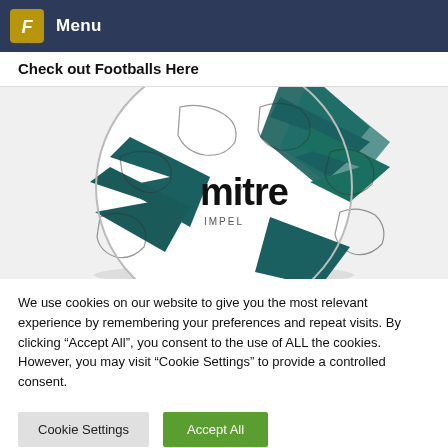Menu
Check out Footballs Here
[Figure (photo): A Mitre Impel football (soccer ball) shown from above, white with teal/dark green and black geometric panel design, 'mitre' branding and 'IMPEL' text on the ball]
We use cookies on our website to give you the most relevant experience by remembering your preferences and repeat visits. By clicking “Accept All”, you consent to the use of ALL the cookies. However, you may visit “Cookie Settings” to provide a controlled consent.
Cookie Settings | Accept All